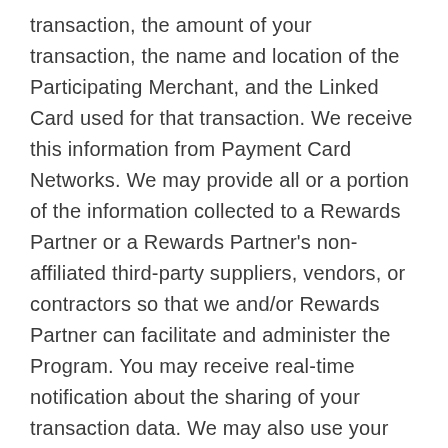transaction, the amount of your transaction, the name and location of the Participating Merchant, and the Linked Card used for that transaction. We receive this information from Payment Card Networks. We may provide all or a portion of the information collected to a Rewards Partner or a Rewards Partner's non-affiliated third-party suppliers, vendors, or contractors so that we and/or Rewards Partner can facilitate and administer the Program. You may receive real-time notification about the sharing of your transaction data. We may also use your transaction information to generate internal financial reporting and analysis regarding our business and for external reporting of anonymized data to market our business and the Program to third parties, including potential Participating Merchants and potential rewards partners.